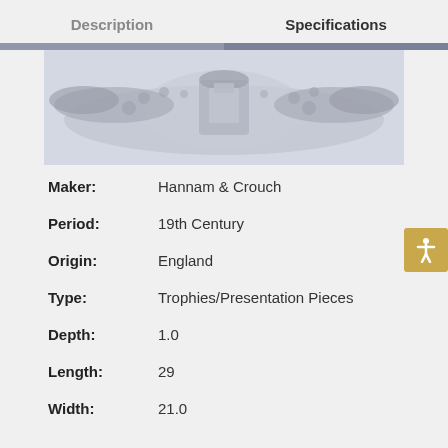Description    Specifications
[Figure (photo): Image of a decorative presentation piece or trophy showing ornate floral/heraldic design in grayscale]
| Maker: | Hannam & Crouch |
| Period: | 19th Century |
| Origin: | England |
| Type: | Trophies/Presentation Pieces |
| Depth: | 1.0 |
| Length: | 29 |
| Width: | 21.0 |